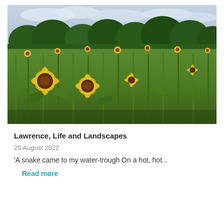[Figure (photo): A field of sunflowers with tall green stems and yellow blooms, trees in background, overcast sky]
Lawrence, Life and Landscapes
25 August 2022
'A snake came to my water-trough On a hot, hot...
Read more